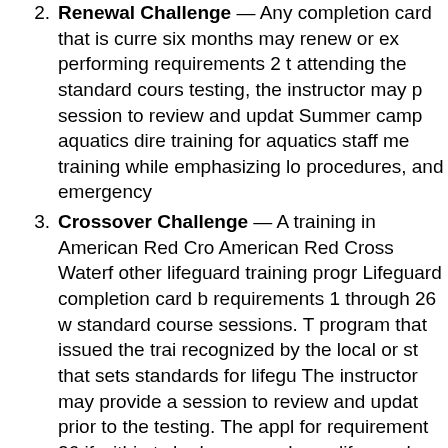2. Renewal Challenge — Any completion card that is currently six months may renew or extend performing requirements 2 t attending the standard course testing, the instructor may provide session to review and update Summer camp aquatics directors training for aquatics staff members training while emphasizing local procedures, and emergency
3. Crossover Challenge — Any training in American Red Cross American Red Cross Waterfront other lifeguard training programs Lifeguard completion card by requirements 1 through 26 w standard course sessions. The program that issued the training recognized by the local or state that sets standards for lifeguards The instructor may provide a session to review and update prior to the testing. The applicant for requirement 26 if within the she has served as a lifeguard has supervised lifeguards, for BSA swimming activities for